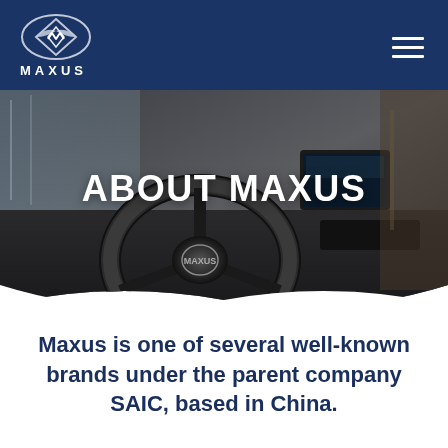MAXUS
[Figure (photo): Car interior hero image showing a steering wheel and dashboard, with 'ABOUT MAXUS' text overlay]
Maxus is one of several well-known brands under the parent company SAIC, based in China.